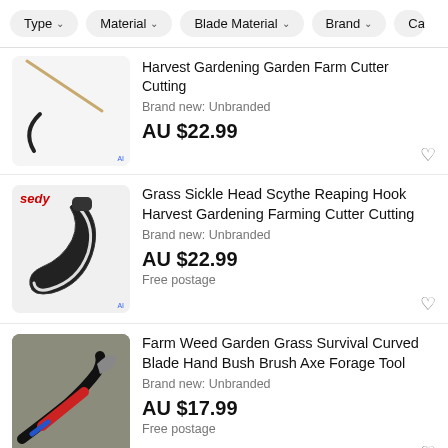Type  Material  Blade Material  Brand  Ca
[Figure (photo): Partial view of a sickle/cutter tool on light grey background, showing a long thin handle and curved blade end]
Harvest Gardening Garden Farm Cutter Cutting
Brand new: Unbranded
AU $22.99
[Figure (photo): Black grass sickle head scythe reaping hook with white edge detail on light grey background, with 'sedy' brand label in red]
Grass Sickle Head Scythe Reaping Hook Harvest Gardening Farming Cutter Cutting
Brand new: Unbranded
AU $22.99
Free postage
[Figure (photo): Red and black handled curved blade tool with blue accent on grey fabric background]
Farm Weed Garden Grass Survival Curved Blade Hand Bush Brush Axe Forage Tool
Brand new: Unbranded
AU $17.99
Free postage